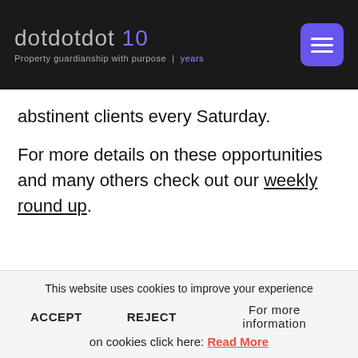dotdotdot 10 | Property guardianship with purpose | years
abstinent clients every Saturday.
For more details on these opportunities and many others check out our weekly round up.
Spotlight on
This website uses cookies to improve your experience
ACCEPT   REJECT   For more information on cookies click here: Read More